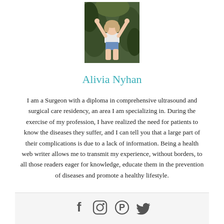[Figure (photo): Photo of Alivia Nyhan, a young woman with arms raised, wearing a white top and denim shorts, outdoors with foliage in background]
Alivia Nyhan
I am a Surgeon with a diploma in comprehensive ultrasound and surgical care residency, an area I am specializing in. During the exercise of my profession, I have realized the need for patients to know the diseases they suffer, and I can tell you that a large part of their complications is due to a lack of information. Being a health web writer allows me to transmit my experience, without borders, to all those readers eager for knowledge, educate them in the prevention of diseases and promote a healthy lifestyle.
[Figure (infographic): Social media icons: Facebook, Instagram, Pinterest, Twitter]